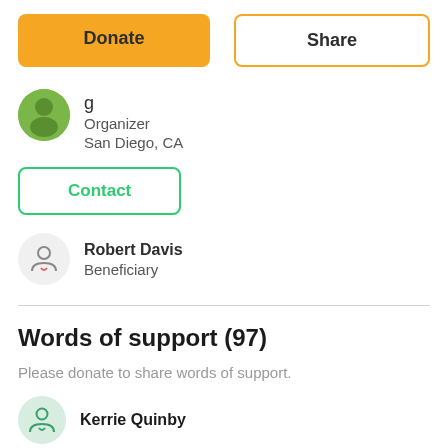Donate
Share
Organizer
San Diego, CA
Contact
Robert Davis
Beneficiary
Words of support (97)
Please donate to share words of support.
Kerrie Quinby